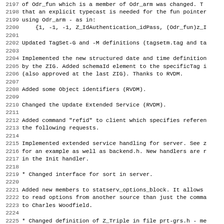2197 of Odr_fun which is a member of Odr_arm was changed. T
2198 that an explicit typecast is needed for the fun pointer
2199 using Odr_arm - as in:
2200     {1, -1, -1, Z_IdAuthentication_idPass, (Odr_fun)z_I
2201
2202 Updated TagSet-G and -M definitions (tagsetm.tag and ta
2203
2204 Implemented the new structured date and time definition
2205 by the ZIG. Added schemaId element to the specificTag i
2206 (also approved at the last ZIG). Thanks to RVDM.
2207
2208 Added some Object identifiers (RVDM).
2209
2210 Changed the Update Extended Service (RVDM).
2211
2212 Added command "refid" to client which specifies referen
2213 the following requests.
2214
2215 Implemented extended service handling for server. See z
2216 for an example as well as backend.h. New handlers are r
2217 in the Init handler.
2218
2219 * Changed interface for sort in server.
2220
2221 Added new members to statserv_options_block. It allows
2222 to read options from another source than just the comma
2223 to Charles Woodfield.
2224
2225 * Changed definition of Z_Triple in file prt-grs.h - me
2226 renamed to zboolean. Some C++ compilers complained abou
2227
2228 Minor changes to gils.abs. Added index 's' (sort) on ti